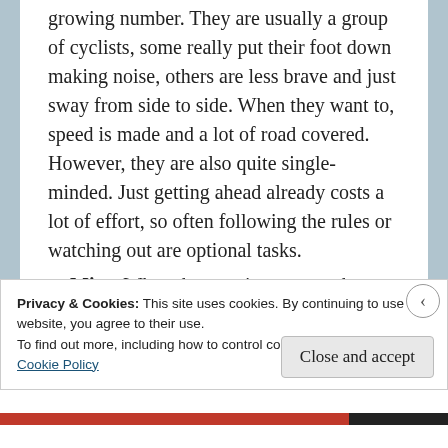growing number. They are usually a group of cyclists, some really put their foot down making noise, others are less brave and just sway from side to side. When they want to, speed is made and a lot of road covered. However, they are also quite single-minded. Just getting ahead already costs a lot of effort, so often following the rules or watching out are optional tasks.
Mice: When they are in a group, they have a lot of power. They can basically cross roads
Privacy & Cookies: This site uses cookies. By continuing to use this website, you agree to their use.
To find out more, including how to control cookies, see here:
Cookie Policy